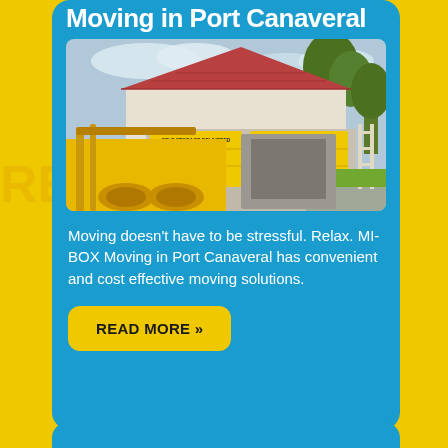Moving in Port Canaveral
[Figure (photo): Yellow MI-BOX self storage delivery containers being lowered/placed in a residential driveway, with a white stucco house with red tile roof and green trees in the background.]
Moving doesn't have to be stressful. Relax. MI-BOX Moving in Port Canaveral has convenient and cost effective moving solutions.
READ MORE »